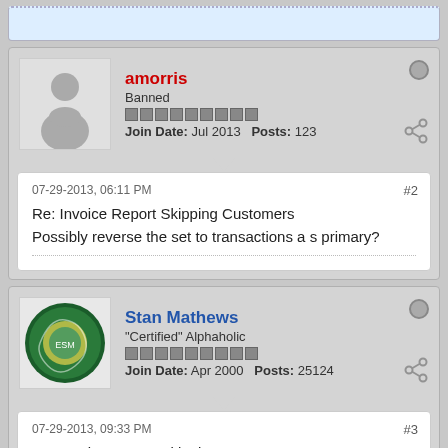amorris — Banned — Join Date: Jul 2013   Posts: 123
07-29-2013, 06:11 PM   #2
Re: Invoice Report Skipping Customers
Possibly reverse the set to transactions a s primary?
Stan Mathews — "Certified" Alphaholic — Join Date: Apr 2000   Posts: 25124
07-29-2013, 09:33 PM   #3
Re: Invoice Report Skipping Customers